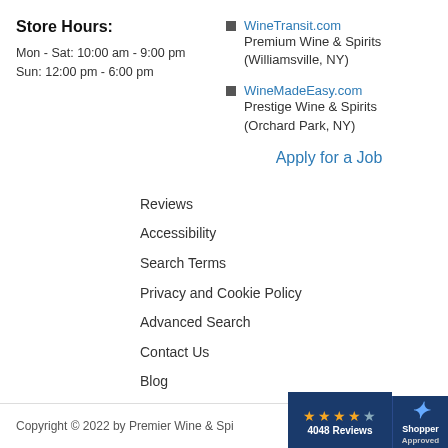Store Hours:
Mon - Sat: 10:00 am - 9:00 pm
Sun: 12:00 pm - 6:00 pm
WineTransit.com
Premium Wine & Spirits (Williamsville, NY)
WineMadeEasy.com
Prestige Wine & Spirits (Orchard Park, NY)
Apply for a Job
Reviews
Accessibility
Search Terms
Privacy and Cookie Policy
Advanced Search
Contact Us
Blog
Copyright © 2022 by Premier Wine & Spirits
[Figure (logo): Shopper Approved badge with 4 orange stars and '4048 Reviews' on dark blue background]